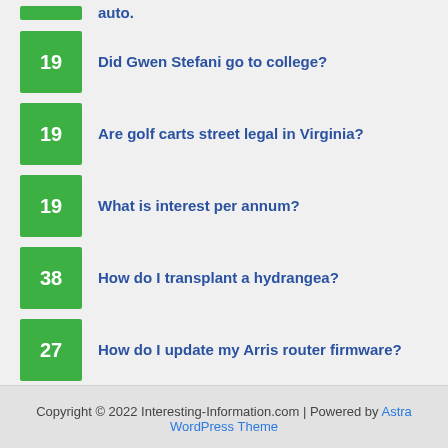19 Did Gwen Stefani go to college?
19 Are golf carts street legal in Virginia?
19 What is interest per annum?
38 How do I transplant a hydrangea?
27 How do I update my Arris router firmware?
Copyright © 2022 Interesting-Information.com | Powered by Astra WordPress Theme